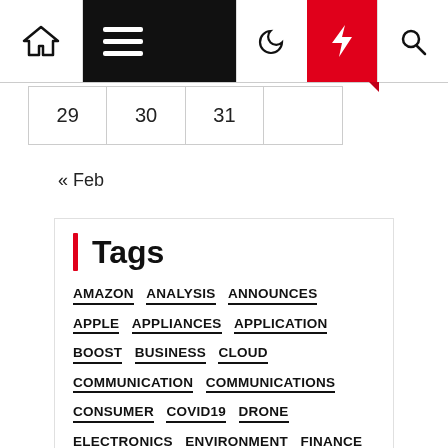Navigation bar with home, menu, moon, bolt, and search icons
| 29 | 30 | 31 |  |  |
« Feb
Tags
AMAZON
ANALYSIS
ANNOUNCES
APPLE
APPLIANCES
APPLICATION
BOOST
BUSINESS
CLOUD
COMMUNICATION
COMMUNICATIONS
CONSUMER
COVID19
DRONE
ELECTRONICS
ENVIRONMENT
FINANCE
FORECAST
GAMING
GLOBAL
GROWTH
HOME
INDUSTRY
INFORMATION
KEY
LAUNCHES
MARKET
NEWS